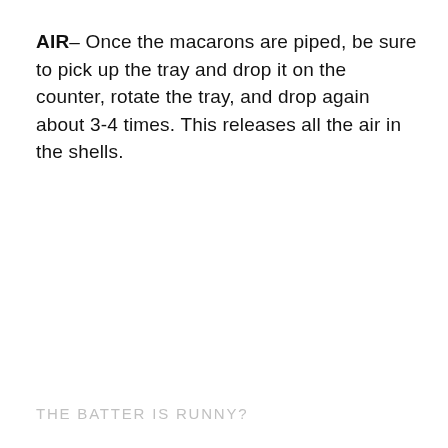AIR– Once the macarons are piped, be sure to pick up the tray and drop it on the counter, rotate the tray, and drop again about 3-4 times. This releases all the air in the shells.
THE BATTER IS RUNNY?